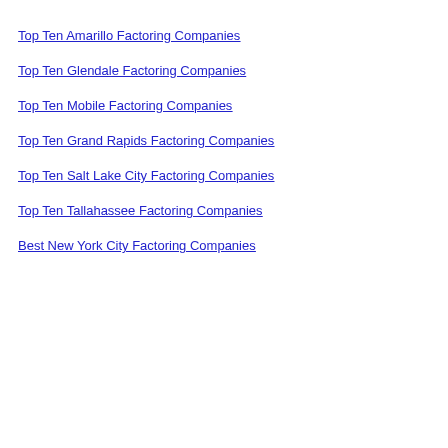Top Ten Amarillo Factoring Companies
Top Ten Glendale Factoring Companies
Top Ten Mobile Factoring Companies
Top Ten Grand Rapids Factoring Companies
Top Ten Salt Lake City Factoring Companies
Top Ten Tallahassee Factoring Companies
Best New York City Factoring Companies